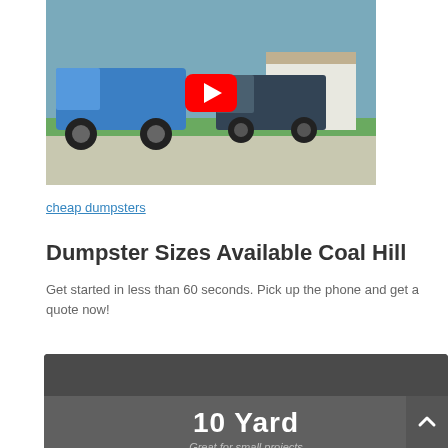[Figure (screenshot): YouTube video thumbnail showing a blue truck on a street with a red YouTube play button overlay]
cheap dumpsters
Dumpster Sizes Available Coal Hill
Get started in less than 60 seconds. Pick up the phone and get a quote now!
[Figure (infographic): Dark grey card panel showing '10 Yard' in large white bold text with italic subtitle 'Great for small projects', with a scroll-to-top chevron button on the right]